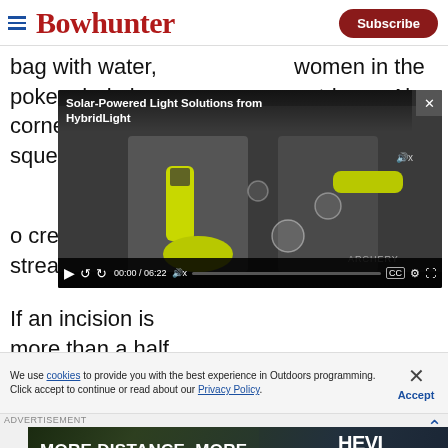Bowhunter | Subscribe
bag with water, poke a hole in one corner, and squeeze the ba
women in the outdoors. Also, AMK markets QuickClot
[Figure (screenshot): Video player overlay showing 'Solar-Powered Light Solutions from HybridLight' with a thumbnail of two people holding yellow/black lights. Video controls show 00:00 / 06:22. CC and settings icons visible. Sound icon shown. ARCHERY label visible bottom right.]
o create a press stream.
If an incision is more than a half
We use cookies to provide you with the best experience in Outdoors programming. Click accept to continue or read about our Privacy Policy.
Advertisement
[Figure (photo): Advertisement banner for HEVI-SHOT HEVI-METAL ammunition. Text reads: MORE DISTANCE. MORE GREEN. HEVI-SHOT | HEVI METAL LONGER RANGE. BANG DEAD.]